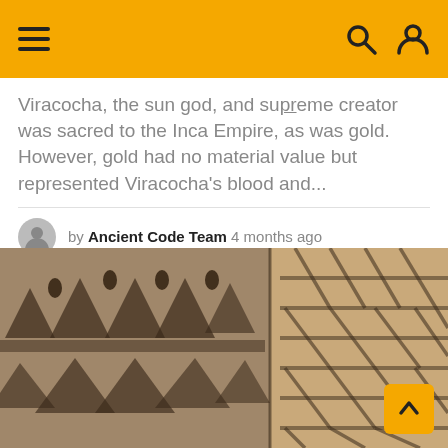Navigation header with hamburger menu, search and user icons
Viracocha, the sun god, and supreme creator was sacred to the Inca Empire, as was gold. However, gold had no material value but represented Viracocha's blood and...
by Ancient Code Team 4 months ago
[Figure (photo): Close-up photograph of ancient stone or adobe carved decorative patterns, showing repeated triangular and geometric relief carvings in sandy/brown tones, split between a darker shadowed left half and a lighter right half.]